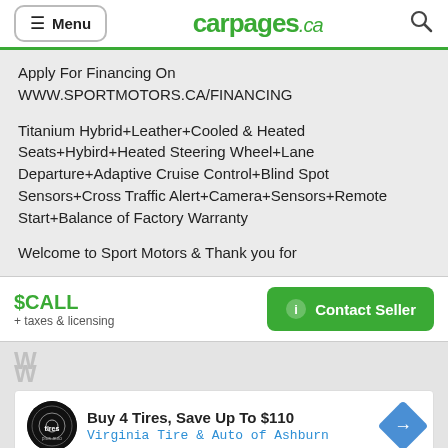Menu | carpages.ca
Apply For Financing On WWW.SPORTMOTORS.CA/FINANCING
Titanium Hybrid+Leather+Cooled & Heated Seats+Hybird+Heated Steering Wheel+Lane Departure+Adaptive Cruise Control+Blind Spot Sensors+Cross Traffic Alert+Camera+Sensors+Remote Start+Balance of Factory Warranty
Welcome to Sport Motors & Thank you for
$CALL
+ taxes & licensing
Contact Seller
[Figure (infographic): Advertisement banner: Buy 4 Tires, Save Up To $110 - Virginia Tire & Auto of Ashburn, with Tires Plus Auto logo and directional arrow icon]